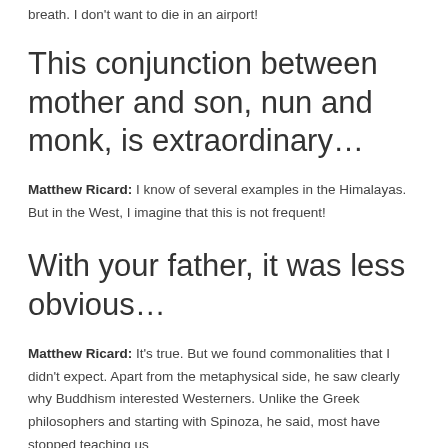breath. I don't want to die in an airport!
This conjunction between mother and son, nun and monk, is extraordinary…
Matthew Ricard: I know of several examples in the Himalayas. But in the West, I imagine that this is not frequent!
With your father, it was less obvious…
Matthew Ricard: It's true. But we found commonalities that I didn't expect. Apart from the metaphysical side, he saw clearly why Buddhism interested Westerners. Unlike the Greek philosophers and starting with Spinoza, he said, most have stopped teaching us